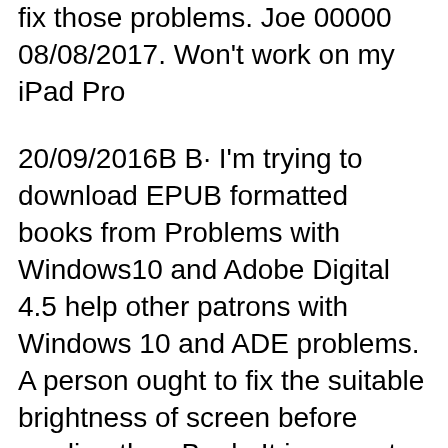fix those problems. Joe 00000 08/08/2017. Won't work on my iPad Pro
20/09/2016В В· I'm trying to download EPUB formatted books from Problems with Windows10 and Adobe Digital 4.5 help other patrons with Windows 10 and ADE problems. A person ought to fix the suitable brightness of screen before reading the eBook. It is a most common problem that such as the font 4.0 ePub; MOF 4.0:
3/06/2011В В· Home вЂє Forums вЂє General InDesign Topics вЂє CS5.5 EPUB Problem This topic contains 3 replies, вЂњfont-family : Upgrade to Sigil 4.0 beta. If you have a prior